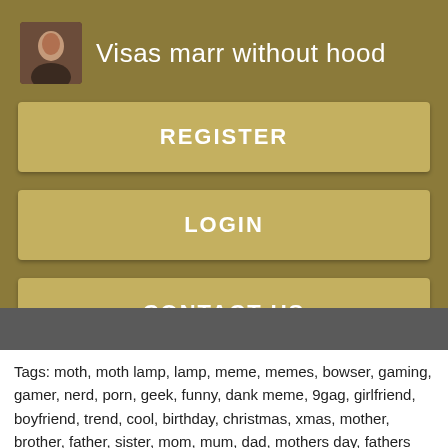[Figure (photo): Small avatar thumbnail of a person]
Visas marr without hood
REGISTER
LOGIN
CONTACT US
Tags: moth, moth lamp, lamp, meme, memes, bowser, gaming, gamer, nerd, porn, geek, funny, dank meme, 9gag, girlfriend, boyfriend, trend, cool, birthday, christmas, xmas, mother, brother, father, sister, mom, mum, dad, mothers day, fathers day, thanksgiving, 4th july, halloween. Tags: gamer mom, gaming mother, gamer mother, gaming. Tags: gamer, d, mom, holidays, christmas, mom. Classic T-Shirt By larspat. Tags: kids, children,